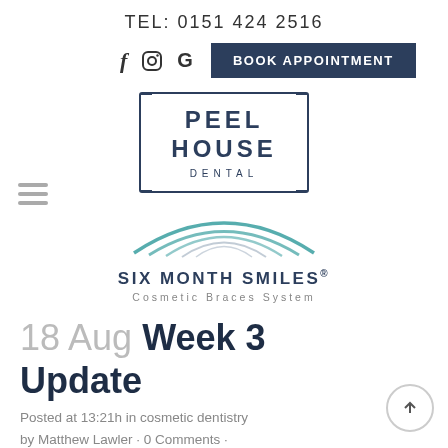TEL: 0151 424 2516
[Figure (logo): Navigation bar with Facebook, Instagram, Google social icons and BOOK APPOINTMENT button]
[Figure (logo): Peel House Dental logo with bracket-style border]
[Figure (logo): Six Month Smiles Cosmetic Braces System logo with smile arc graphic]
18 Aug Week 3 Update
Posted at 13:21h in cosmetic dentistry by Matthew Lawler · 0 Comments ·